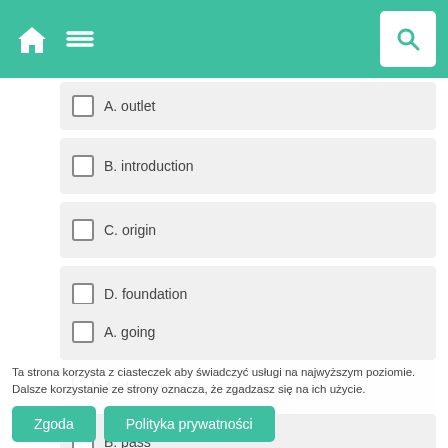Navigation header with home, menu, and search icons
A. outlet
B. introduction
C. origin
D. foundation
9.
A. danger
B. risk
C. peril
D. hazard
10.
A. going
B. pass
Ta strona korzysta z ciasteczek aby świadczyć usługi na najwyższym poziomie. Dalsze korzystanie ze strony oznacza, że zgadzasz się na ich użycie.
Zgoda
Polityka prywatności